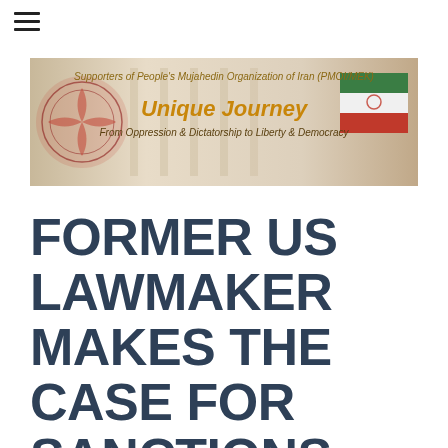[Figure (illustration): Banner for 'Supporters of People's Mujahedin Organization of Iran (PMOI/MEK)' with text 'Unique Journey – From Oppression & Dictatorship to Liberty & Democracy', featuring a red emblem on left, faded building background, and Iranian flag on right.]
FORMER US LAWMAKER MAKES THE CASE FOR SANCTIONS AND DIPLOMATIC PRESSURE AGAINST THE IRANIAN